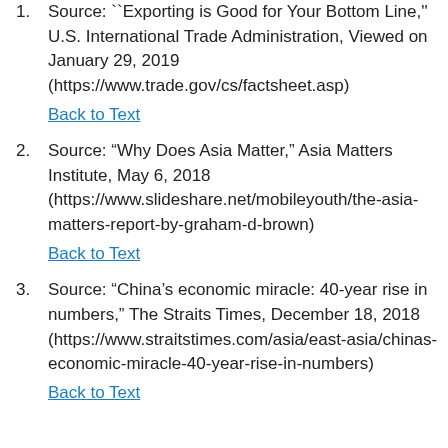Source: "Exporting is Good for Your Bottom Line," U.S. International Trade Administration, Viewed on January 29, 2019 (https://www.trade.gov/cs/factsheet.asp)
Back to Text
Source: “Why Does Asia Matter,” Asia Matters Institute, May 6, 2018 (https://www.slideshare.net/mobileyouth/the-asia-matters-report-by-graham-d-brown)
Back to Text
Source: “China’s economic miracle: 40-year rise in numbers,” The Straits Times, December 18, 2018 (https://www.straitstimes.com/asia/east-asia/chinas-economic-miracle-40-year-rise-in-numbers)
Back to Text